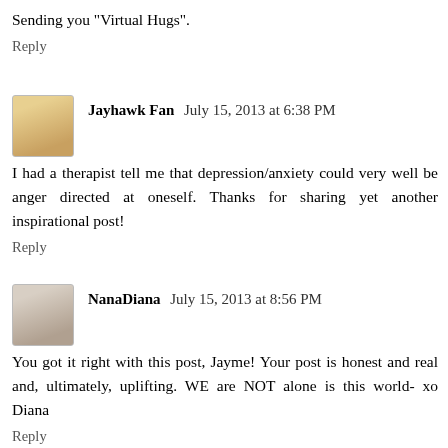Sending you "Virtual Hugs".
Reply
Jayhawk Fan  July 15, 2013 at 6:38 PM
I had a therapist tell me that depression/anxiety could very well be anger directed at oneself. Thanks for sharing yet another inspirational post!
Reply
NanaDiana  July 15, 2013 at 8:56 PM
You got it right with this post, Jayme! Your post is honest and real and, ultimately, uplifting. WE are NOT alone is this world- xo Diana
Reply
Anonymous  July 16, 2013 at 7:57 AM
Well, hmm.. again another post that went right to my heart